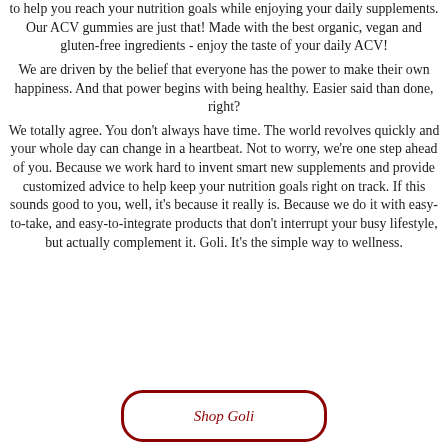to help you reach your nutrition goals while enjoying your daily supplements. Our ACV gummies are just that! Made with the best organic, vegan and gluten-free ingredients - enjoy the taste of your daily ACV!
We are driven by the belief that everyone has the power to make their own happiness. And that power begins with being healthy. Easier said than done, right?
We totally agree. You don't always have time. The world revolves quickly and your whole day can change in a heartbeat. Not to worry, we're one step ahead of you. Because we work hard to invent smart new supplements and provide customized advice to help keep your nutrition goals right on track. If this sounds good to you, well, it's because it really is. Because we do it with easy-to-take, and easy-to-integrate products that don't interrupt your busy lifestyle, but actually complement it. Goli. It's the simple way to wellness.
[Figure (other): Rounded rectangle button with dark red border and italic text partially visible reading 'Shop Goli']